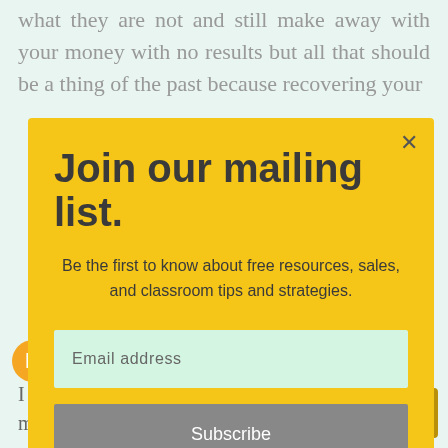what they are not and still make away with your money with no results but all that should be a thing of the past because recovering your
[Figure (screenshot): Mailing list subscription modal with yellow background, title 'Join our mailing list.', subtitle text, email address input field, and Subscribe button with a close (×) button in the top right.]
Courtney James February 11, 2022 at 9...
I was caught off guard when applying a mortgage loan and realizing that I had a